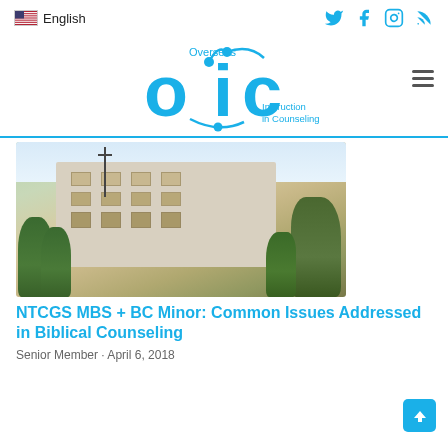English
[Figure (logo): OIC Overseas Instruction in Counseling logo in cyan/blue]
[Figure (photo): Photo of a multi-story institutional building with a cross on a flagpole, surrounded by trees]
NTCGS MBS + BC Minor: Common Issues Addressed in Biblical Counseling
Senior Member · April 6, 2018